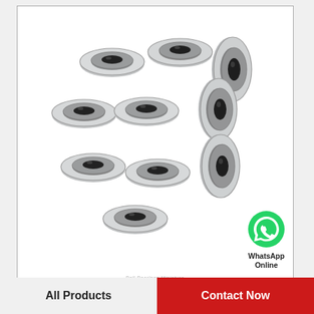[Figure (photo): Photograph of approximately 10 small metal ball bearings (miniature bearings) arranged in a loose group on a white background, inside a bordered image frame. A green WhatsApp icon with label 'WhatsApp Online' is overlaid at the bottom-right of the frame.]
7mm x 19mm x 6mm SKF 607-2rsh/c3-skf Ball Bearings Miniatures
All Products
Contact Now